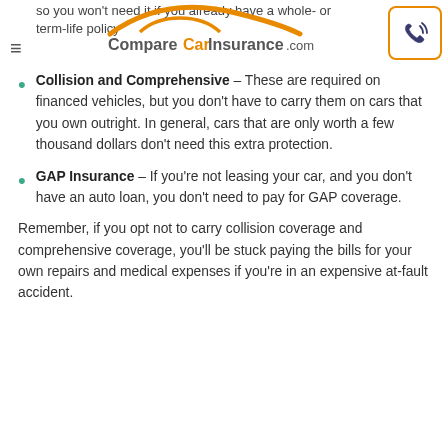so you won't need it if you already have a whole- or term-life policy
[Figure (logo): CompareCarInsurance.com logo with orange car arc above text and phone icon button]
Collision and Comprehensive – These are required on financed vehicles, but you don't have to carry them on cars that you own outright. In general, cars that are only worth a few thousand dollars don't need this extra protection.
GAP Insurance – If you're not leasing your car, and you don't have an auto loan, you don't need to pay for GAP coverage.
Remember, if you opt not to carry collision coverage and comprehensive coverage, you'll be stuck paying the bills for your own repairs and medical expenses if you're in an expensive at-fault accident.